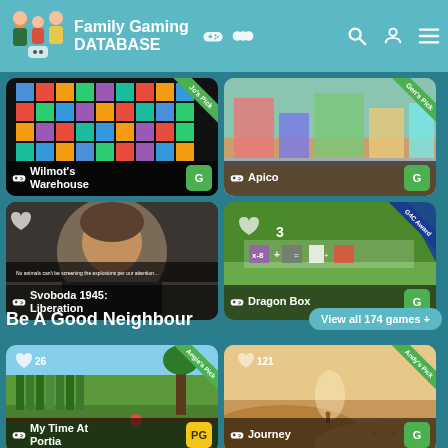Family Gaming Database
[Figure (screenshot): Wilmot's Warehouse game card with Jo's Pick ribbon and G rating badge]
[Figure (screenshot): Apico game card with Gen's Pick ribbon and G rating badge]
[Figure (screenshot): Svoboda 1945: Liberation game card]
[Figure (screenshot): Dragon Box game card with G4C Award ribbon and G rating badge]
Be A Good Neighbour
View all 174 games +
[Figure (screenshot): My Time At Portia game card with Angie's Pick ribbon, 26 hearts, PG rating badge]
[Figure (screenshot): Journey game card with Andy's Pick ribbon, 121 hearts, G rating badge]